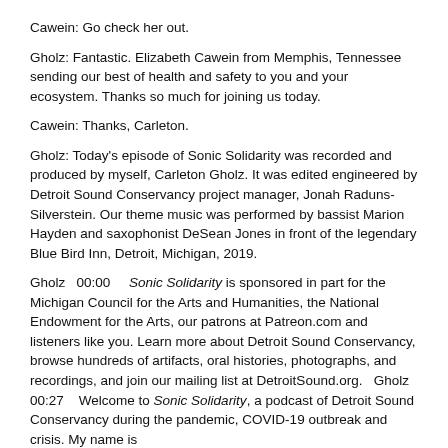Cawein: Go check her out.
Gholz: Fantastic. Elizabeth Cawein from Memphis, Tennessee sending our best of health and safety to you and your ecosystem. Thanks so much for joining us today.
Cawein: Thanks, Carleton.
Gholz: Today's episode of Sonic Solidarity was recorded and produced by myself, Carleton Gholz. It was edited engineered by Detroit Sound Conservancy project manager, Jonah Raduns-Silverstein. Our theme music was performed by bassist Marion Hayden and saxophonist DeSean Jones in front of the legendary Blue Bird Inn, Detroit, Michigan, 2019.
Gholz   00:00    Sonic Solidarity is sponsored in part for the Michigan Council for the Arts and Humanities, the National Endowment for the Arts, our patrons at Patreon.com and listeners like you. Learn more about Detroit Sound Conservancy, browse hundreds of artifacts, oral histories, photographs, and recordings, and join our mailing list at DetroitSound.org.   Gholz   00:27   Welcome to Sonic Solidarity, a podcast of Detroit Sound Conservancy during the pandemic, COVID-19 outbreak and crisis. My name is